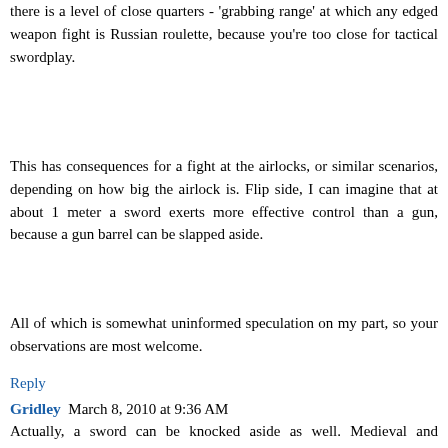there is a level of close quarters - 'grabbing range' at which any edged weapon fight is Russian roulette, because you're too close for tactical swordplay.
This has consequences for a fight at the airlocks, or similar scenarios, depending on how big the airlock is. Flip side, I can imagine that at about 1 meter a sword exerts more effective control than a gun, because a gun barrel can be slapped aside.
All of which is somewhat uninformed speculation on my part, so your observations are most welcome.
Reply
Gridley  March 8, 2010 at 9:36 AM
Actually, a sword can be knocked aside as well. Medieval and Renaissance instructional manuals on the sword include both grasping your own blade above the guard and grabbing your opponent's blade. Ring maille (chainmail) guantlets are strongly recommended, Do Not Try This At